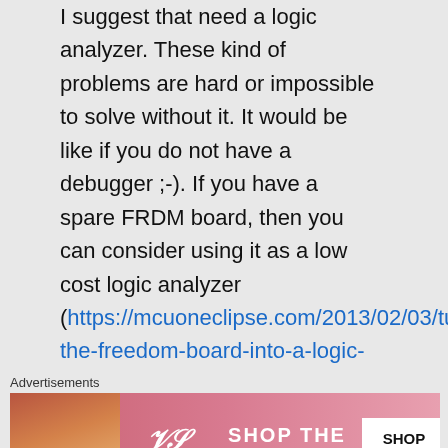I suggest that need a logic analyzer. These kind of problems are hard or impossible to solve without it. It would be like if you do not have a debugger ;-). If you have a spare FRDM board, then you can consider using it as a low cost logic analyzer (https://mcuoneclipse.com/2013/02/03/turning-the-freedom-board-into-a-logic-...
Advertisements
[Figure (photo): Victoria's Secret advertisement banner with model and 'SHOP THE COLLECTION' text and 'SHOP NOW' button]